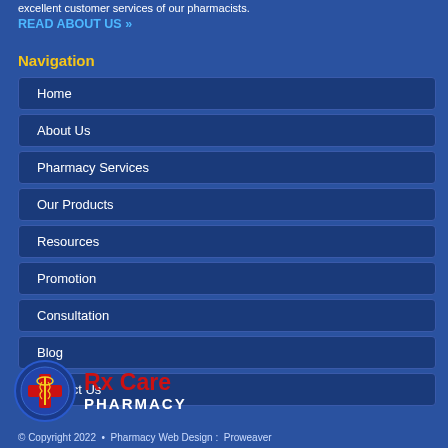excellent customer services of our pharmacists.
READ ABOUT US »
Navigation
Home
About Us
Pharmacy Services
Our Products
Resources
Promotion
Consultation
Blog
Contact Us
[Figure (logo): Rx Care Pharmacy logo with circular emblem containing a red caduceus/star of life symbol]
© Copyright 2022 • Pharmacy Web Design : Proweaver